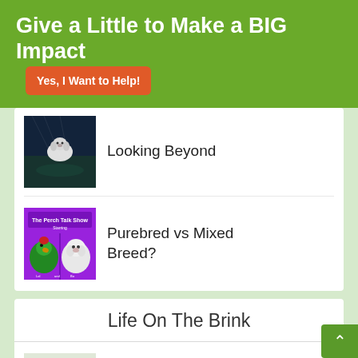Give a Little to Make a BIG Impact
Yes, I Want to Help!
Looking Beyond
[Figure (photo): Dark blue/black background photo with a white dog]
Purebred vs Mixed Breed?
[Figure (photo): The Perch Talk Show thumbnail with parrot and dog on purple background]
Life On The Brink
Where Have The Bumblebees Gone?
Frank's New Life